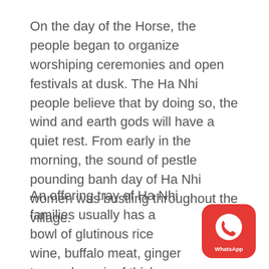On the day of the Horse, the people began to organize worshiping ceremonies and open festivals at dusk. The Ha Nhi people believe that by doing so, the wind and earth gods will have a quiet rest. From early in the morning, the sound of pestle pounding banh day of Ha Nhi women was bustling throughout the village.
An offering tray of Ha Nhi families usually has a bowl of glutinous rice wine, buffalo meat, ginger tea and a pair of thick cakes… Families who
[Figure (logo): WhatsApp logo: red rounded square with white phone handset icon and 'WhatsApp' text below]